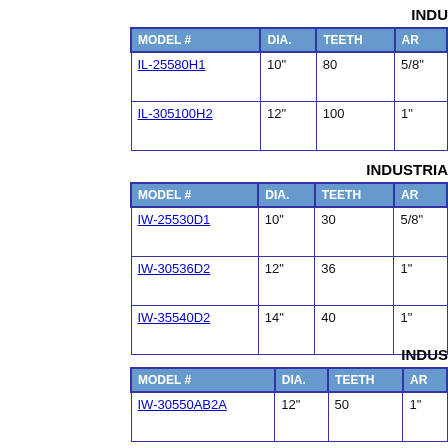INDU
| MODEL # | DIA. | TEETH | AR |
| --- | --- | --- | --- |
| IL-25580H1 | 10" | 80 | 5/8" |
| IL-305100H2 | 12" | 100 | 1" |
INDUSTRIA
| MODEL # | DIA. | TEETH | AR |
| --- | --- | --- | --- |
| IW-25530D1 | 10" | 30 | 5/8" |
| IW-30536D2 | 12" | 36 | 1" |
| IW-35540D2 | 14" | 40 | 1" |
INDUS
| MODEL # | DIA. | TEETH | AR |
| --- | --- | --- | --- |
| IW-30550AB2A | 12" | 50 | 1" |